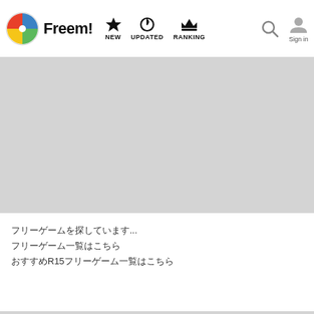Freem! NEW UPDATED RANKING Sign in
[Figure (other): Gray placeholder banner area at top below navigation]
フリーゲームを探しています...
フリーゲーム一覧はこちら
おすすめR15フリーゲーム一覧はこちら
[Figure (other): Gray placeholder banner area at bottom]